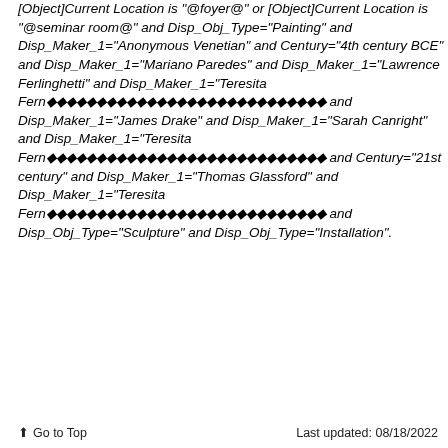[Object]Current Location is "@foyer@" or [Object]Current Location is "@seminar room@" and Disp_Obj_Type="Painting" and Disp_Maker_1="Anonymous Venetian" and Century="4th century BCE" and Disp_Maker_1="Mariano Paredes" and Disp_Maker_1="Lawrence Ferlinghetti" and Disp_Maker_1="Teresita Fern������������������������ and Disp_Maker_1="James Drake" and Disp_Maker_1="Sarah Canright" and Disp_Maker_1="Teresita Fern������������������������ and Century="21st century" and Disp_Maker_1="Thomas Glassford" and Disp_Maker_1="Teresita Fern������������������������ and Disp_Obj_Type="Sculpture" and Disp_Obj_Type="Installation".
⬆ Go to Top    Last updated: 08/18/2022